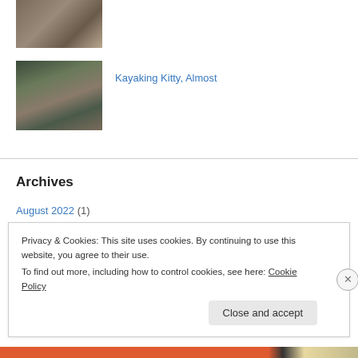[Figure (photo): Partial photo of a person with a cat near furniture, cropped at top]
[Figure (photo): Person kayaking with a cat in a kayak on water]
Kayaking Kitty, Almost
Archives
August 2022 (1)
June 2021 (1)
Privacy & Cookies: This site uses cookies. By continuing to use this website, you agree to their use.
To find out more, including how to control cookies, see here: Cookie Policy
Close and accept